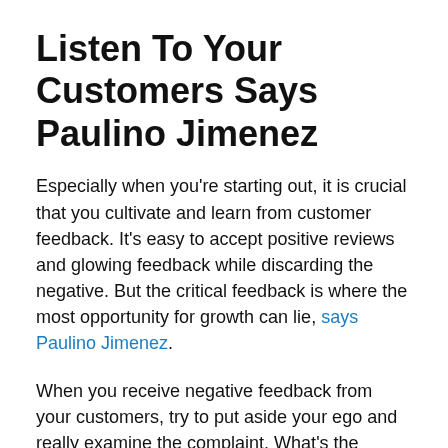Listen To Your Customers Says Paulino Jimenez
Especially when you're starting out, it is crucial that you cultivate and learn from customer feedback. It's easy to accept positive reviews and glowing feedback while discarding the negative. But the critical feedback is where the most opportunity for growth can lie, says Paulino Jimenez.
When you receive negative feedback from your customers, try to put aside your ego and really examine the complaint. What's the underlying issue beneath the anger or disappointment? Did unexpected shipping fees change the final price? Consider where you could advertise that to avoid surprises. Was there a massive wait time in your store? Think about how you could make your process more efficient or if you should hire another employee.